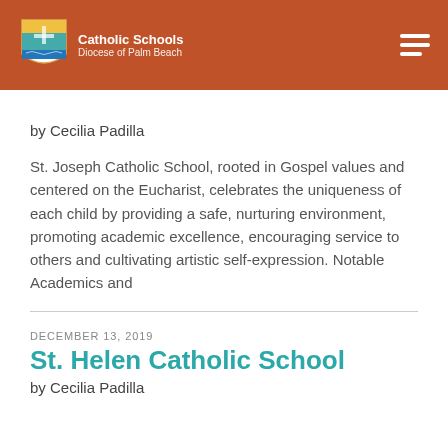Catholic Schools Diocese of Palm Beach
[partially visible title]
by Cecilia Padilla
St. Joseph Catholic School, rooted in Gospel values and centered on the Eucharist, celebrates the uniqueness of each child by providing a safe, nurturing environment, promoting academic excellence, encouraging service to others and cultivating artistic self-expression. Notable Academics and
DECEMBER 13, 2019
St. Helen Catholic School
by Cecilia Padilla